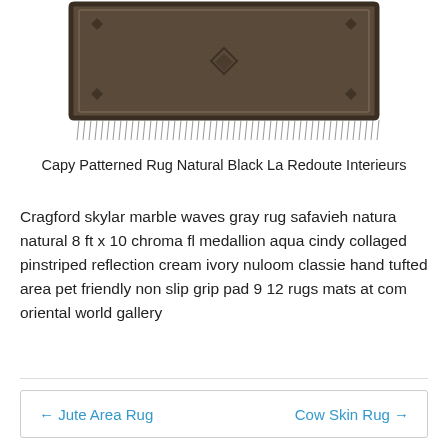[Figure (photo): Photo of a patterned rug in natural black color, with fringe at the bottom, showing geometric diamond and floral patterns on a dark woven background.]
Capy Patterned Rug Natural Black La Redoute Interieurs
Cragford skylar marble waves gray rug safavieh natura natural 8 ft x 10 chroma fl medallion aqua cindy collaged pinstriped reflection cream ivory nuloom classie hand tufted area pet friendly non slip grip pad 9 12 rugs mats at com oriental world gallery
← Jute Area Rug
Cow Skin Rug →